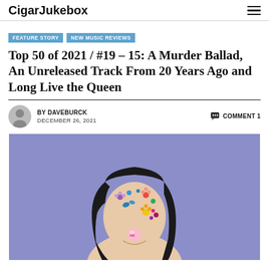CigarJukebox
FEATURE STORY
NEW MUSIC REVIEWS
Top 50 of 2021 / #19 – 15: A Murder Ballad, An Unreleased Track From 20 Years Ago and Long Live the Queen
BY DAVEBURCK   COMMENT 1   DECEMBER 26, 2021
[Figure (photo): Young woman with dark hair, colorful floral stickers on her face, blowing a bubble gum bubble, against a purple/periwinkle background]